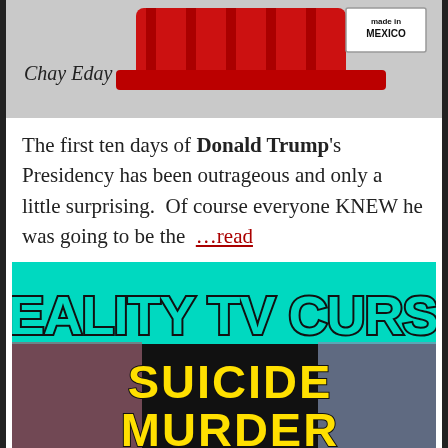[Figure (illustration): Top image showing a red MAGA-style hat with 'made in MEXICO' label, and 'Chay Eday' text in cursive on the left side. Gray background.]
The first ten days of Donald Trump's Presidency has been outrageous and only a little surprising.  Of course everyone KNEW he was going to be the  …read more
[Figure (photo): Thumbnail image with teal/cyan background showing bold text 'REALITY TV CURSE!' in large letters, below that 'SUICIDE' in yellow, and partially visible 'MURDER' in yellow at the bottom. Blurred faces visible on left and right sides.]